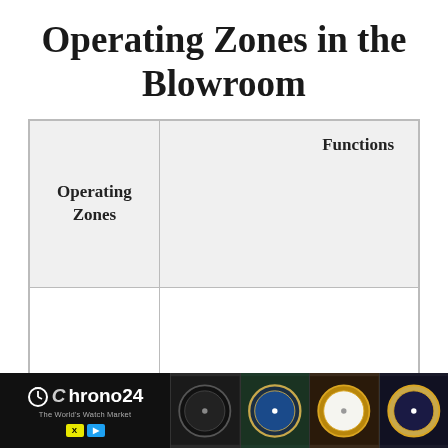Operating Zones in the Blowroom
| Operating Zones | Functions |
| --- | --- |
|  |  |
|  |  |
[Figure (other): Chrono24 advertisement banner with watch market images]